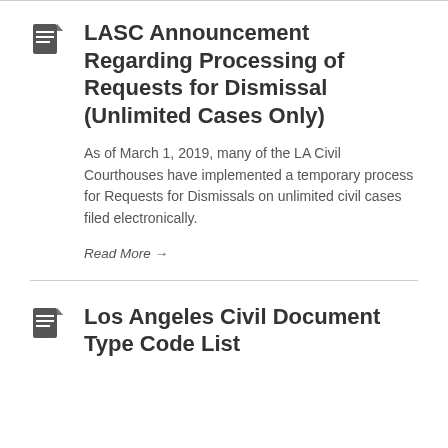LASC Announcement Regarding Processing of Requests for Dismissal (Unlimited Cases Only)
As of March 1, 2019, many of the LA Civil Courthouses have implemented a temporary process for Requests for Dismissals on unlimited civil cases filed electronically.
Read More →
Los Angeles Civil Document Type Code List